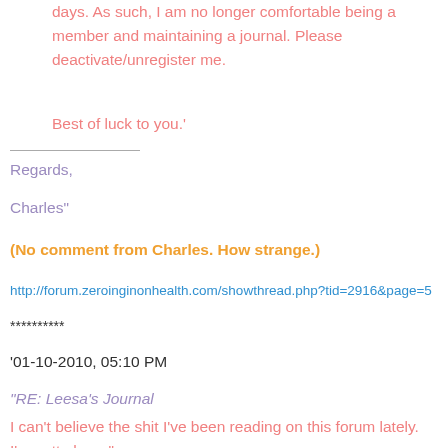days. As such, I am no longer comfortable being a member and maintaining a journal. Please deactivate/unregister me.
Best of luck to you.'
Regards,
Charles"
(No comment from Charles. How strange.)
http://forum.zeroinginonhealth.com/showthread.php?tid=2916&page=5
**********
'01-10-2010, 05:10 PM
"RE: Leesa's Journal
I can't believe the shit I've been reading on this forum lately. I'm outta here."